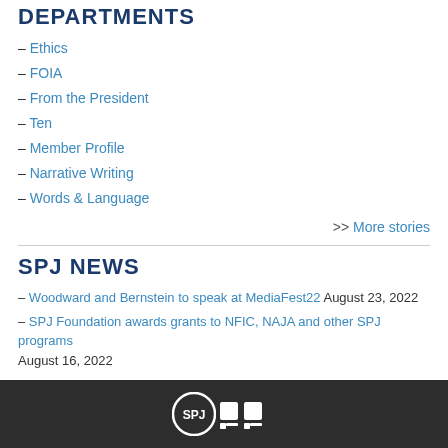DEPARTMENTS
– Ethics
– FOIA
– From the President
– Ten
– Member Profile
– Narrative Writing
– Words & Language
>> More stories
SPJ NEWS
– Woodward and Bernstein to speak at MediaFest22 August 23, 2022
– SPJ Foundation awards grants to NFIC, NAJA and other SPJ programs August 16, 2022
[Figure (logo): SPJ dark footer bar with circular SPJ logo and quotation mark icon in white on dark background]